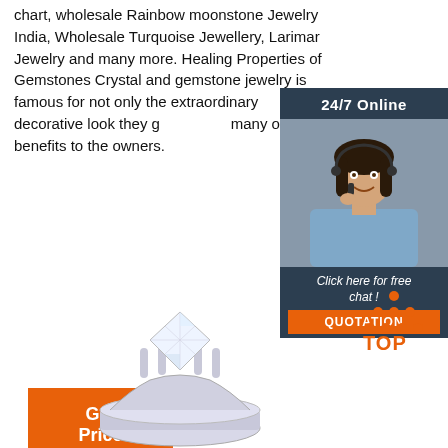chart, wholesale Rainbow moonstone Jewelry India, Wholesale Turquoise Jewellery, Larimar Jewelry and many more. Healing Properties of Gemstones Crystal and gemstone jewelry is famous for not only the extraordinary decorative look they g... many other benefits to the owners.
[Figure (photo): Customer service representative with headset, smiling. Dark blue panel with '24/7 Online' header and 'Click here for free chat!' text with orange QUOTATION button.]
Get Price
[Figure (logo): Orange dot-triangle 'TOP' icon in bottom right]
[Figure (photo): Diamond gemstone ring, silver setting with ornate band, partially cropped at bottom]